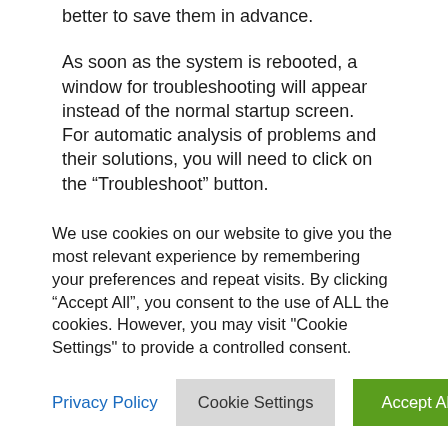better to save them in advance.
As soon as the system is rebooted, a window for troubleshooting will appear instead of the normal startup screen. For automatic analysis of problems and their solutions, you will need to click on the “Troubleshoot” button.
After that, the computer will restart DLL
We use cookies on our website to give you the most relevant experience by remembering your preferences and repeat visits. By clicking “Accept All”, you consent to the use of ALL the cookies. However, you may visit "Cookie Settings" to provide a controlled consent.